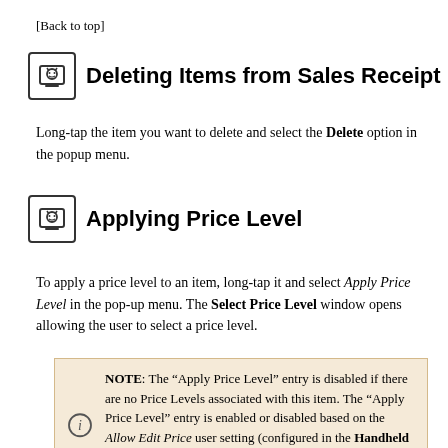[Back to top]
Deleting Items from Sales Receipt
Long-tap the item you want to delete and select the Delete option in the popup menu.
Applying Price Level
To apply a price level to an item, long-tap it and select Apply Price Level in the pop-up menu. The Select Price Level window opens allowing the user to select a price level.
NOTE: The “Apply Price Level” entry is disabled if there are no Price Levels associated with this item. The “Apply Price Level” entry is enabled or disabled based on the Allow Edit Price user setting (configured in the Handheld User Manager window in the QuickBooks Integrated Module, see below).